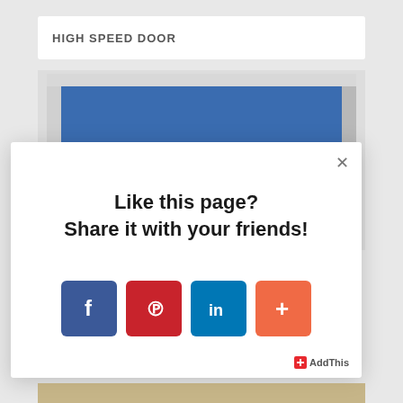HIGH SPEED DOOR
[Figure (photo): Photo of a high speed roller door with blue curtain and white frame]
[Figure (screenshot): Social sharing modal popup with text 'Like this page? Share it with your friends!' and four social media buttons: Facebook, Pinterest, LinkedIn, and AddThis plus button. AddThis branding in bottom right corner.]